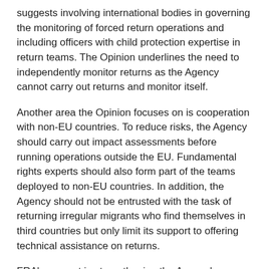suggests involving international bodies in governing the monitoring of forced return operations and including officers with child protection expertise in return teams. The Opinion underlines the need to independently monitor returns as the Agency cannot carry out returns and monitor itself.
Another area the Opinion focuses on is cooperation with non-EU countries. To reduce risks, the Agency should carry out impact assessments before running operations outside the EU. Fundamental rights experts should also form part of the teams deployed to non-EU countries. In addition, the Agency should not be entrusted with the task of returning irregular migrants who find themselves in third countries but only limit its support to offering technical assistance on returns.
FRA's support in strengthening the Agency's fundamental rights protection should be better reflected in the regulation. It could also lend its expertise to migration management support teams.
The European Parliament Special Committee on...